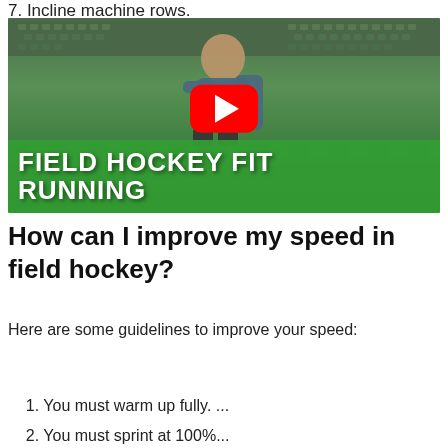7. Incline machine rows.
[Figure (photo): YouTube video thumbnail showing a man running in a field hockey stadium with green seats. Text overlay reads 'FIELD HOCKEY FIT RUNNING' with a YouTube play button in the center.]
How can I improve my speed in field hockey?
Here are some guidelines to improve your speed:
1. You must warm up fully. ...
2. You must sprint at 100%...